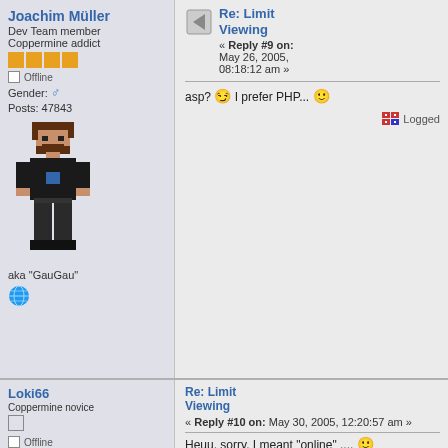Joachim Müller
Dev Team member
Coppermine addict
[stars]
Offline
Gender: ♂
Posts: 47843
[avatar]
aka "GauGau"
[globe icon]
Re: Limit Viewing
« Reply #9 on: May 26, 2005, 08:18:12 am »
asp? 😏 I prefer PHP... 🙂
Logged
Loki66
Coppermine novice
[checkbox]
Offline
Posts: 29
Re: Limit Viewing
« Reply #10 on: May 30, 2005, 12:20:57 am »
Heuu, sorry, I meant "online" .... 🙂
Logged